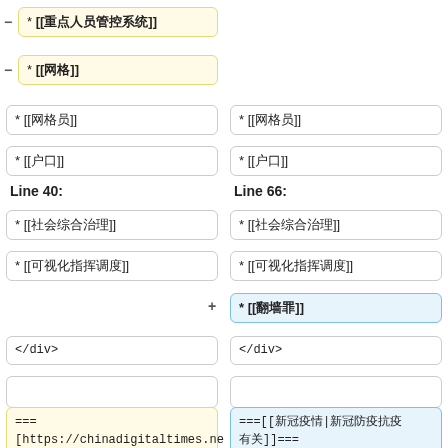* [[重点人员管控系统]]
* [[网格]]
* [[网格员]]
* [[网格员]]
* [[户口]]
* [[户口]]
Line 40:
Line 66:
* [[社会综合治理]]
* [[社会综合治理]]
* [[可视化指挥调度]]
* [[可视化指挥调度]]
* [[翻墙罪]]
</div>
</div>
===
[https://chinadigitaltimes.net/space/Category:%E7%9B%
===[[新冠疫情|新冠防疫抗疫有关]]===